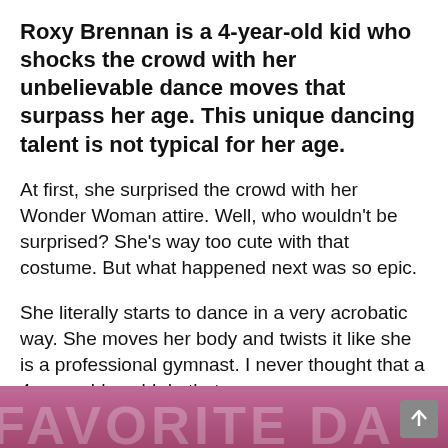Roxy Brennan is a 4-year-old kid who shocks the crowd with her unbelievable dance moves that surpass her age. This unique dancing talent is not typical for her age.
At first, she surprised the crowd with her Wonder Woman attire. Well, who wouldn't be surprised? She's way too cute with that costume. But what happened next was so epic.
She literally starts to dance in a very acrobatic way. She moves her body and twists it like she is a professional gymnast. I never thought that a 4-year-old could do that.
[Figure (photo): Bottom strip showing a pink/purple banner with partial text reading 'FAVORITE DA' in large decorative letters, partially visible at the bottom of the page.]